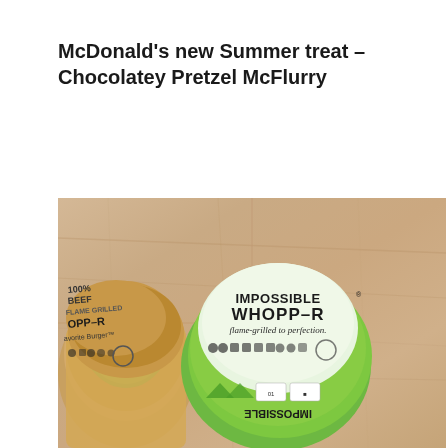McDonald's new Summer treat – Chocolatey Pretzel McFlurry
[Figure (photo): Two Burger King Whopper burgers in their wrappers sitting on a wooden table. Left wrapper is brown paper with 'WHOPPER' branding partially visible. Right wrapper is green and white with 'IMPOSSIBLE WHOPPER flame-grilled to perfection' text and ingredient icons.]